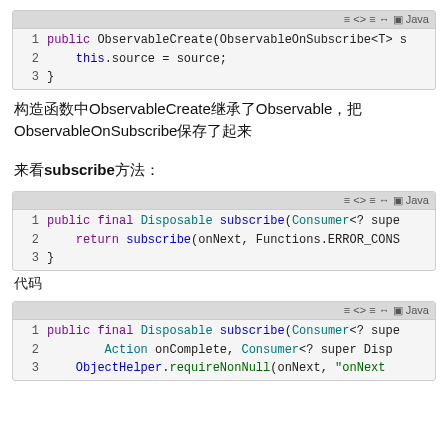[Figure (screenshot): Java code block showing ObservableCreate constructor with line numbers 1-3. Line 1: public ObservableCreate(ObservableOnSubscribe<T> s... Line 2: this.source = source; Line 3: }]
构造函数中ObservableCreate继承了Observable，把ObservableOnSubscribe保存了起来
来看subscribe方法：
[Figure (screenshot): Java code block showing subscribe method with line numbers 1-3. Line 1: public final Disposable subscribe(Consumer<? supe... Line 2: return subscribe(onNext, Functions.ERROR_CONS... Line 3: }]
代码
[Figure (screenshot): Java code block showing subscribe method with line numbers 1-3. Line 1: public final Disposable subscribe(Consumer<? supe... Line 2: Action onComplete, Consumer<? super Disp... Line 3: ObjectHelper.requireNonNull(onNext, 'onNext...]